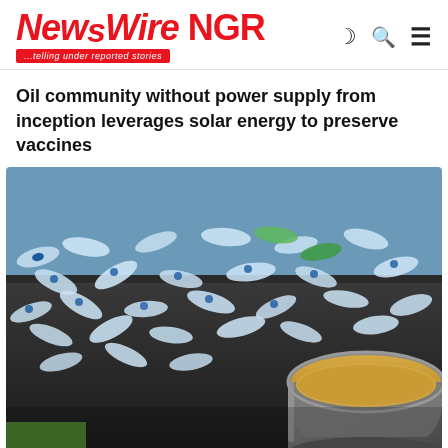NewsWireNGR ...telling under reported stories
Oil community without power supply from inception leverages solar energy to preserve vaccines
[Figure (photo): Photograph showing a large pile of empty plastic water bottles scattered on a dark tarpaulin/ground, with a bucket containing yellowish liquid visible in the lower right corner.]